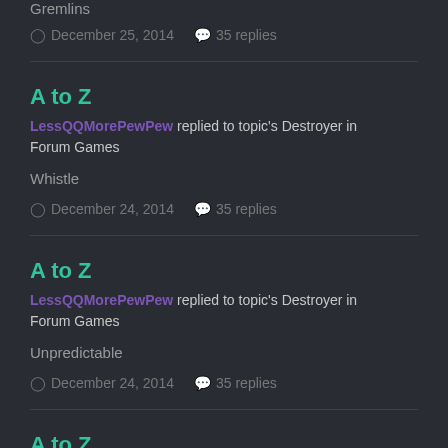Gremlins
December 25, 2014   35 replies
A to Z
LessQQMorePewPew replied to topic's Destroyer in Forum Games
Whistle
December 24, 2014   35 replies
A to Z
LessQQMorePewPew replied to topic's Destroyer in Forum Games
Unpredictable
December 24, 2014   35 replies
A to Z